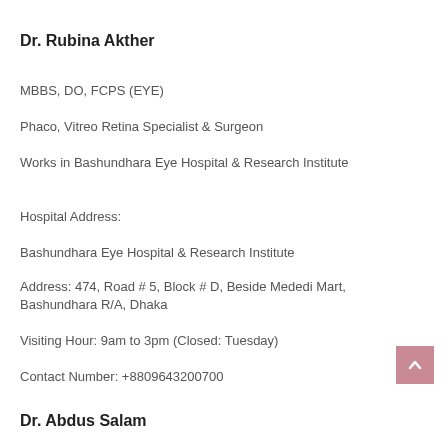Dr. Rubina Akther
MBBS, DO, FCPS (EYE)
Phaco, Vitreo Retina Specialist & Surgeon
Works in Bashundhara Eye Hospital & Research Institute
Hospital Address:
Bashundhara Eye Hospital & Research Institute
Address: 474, Road # 5, Block # D, Beside Mededi Mart, Bashundhara R/A, Dhaka
Visiting Hour: 9am to 3pm (Closed: Tuesday)
Contact Number: +8809643200700
Dr. Abdus Salam